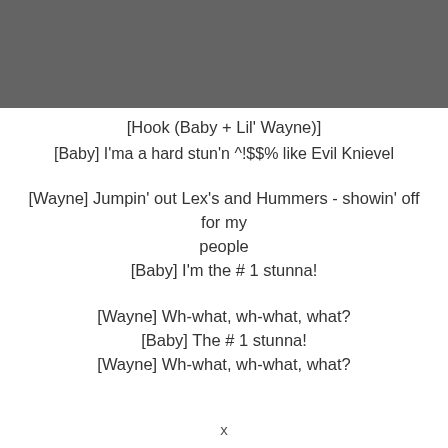[Hook (Baby + Lil' Wayne)]
[Baby] I'ma a hard stun'n ^!$$% like Evil Knievel
[Wayne] Jumpin' out Lex's and Hummers - showin' off for my
people
[Baby] I'm the # 1 stunna!
[Wayne] Wh-what, wh-what, what?
[Baby] The # 1 stunna!
[Wayne] Wh-what, wh-what, what?
x